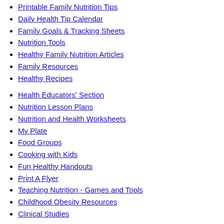Printable Family Nutrition Tips
Daily Health Tip Calendar
Family Goals & Tracking Sheets
Nutrition Tools
Healthy Family Nutrition Articles
Family Resources
Healthy Recipes
Health Educators' Section
Nutrition Lesson Plans
Nutrition and Health Worksheets
My Plate
Food Groups
Cooking with Kids
Fun Healthy Handouts
Print A Flyer
Teaching Nutrition - Games and Tools
Childhood Obesity Resources
Clinical Studies
About Us
Press - News
Meet Our Partners
Showcase Links to Us
Advisory Board